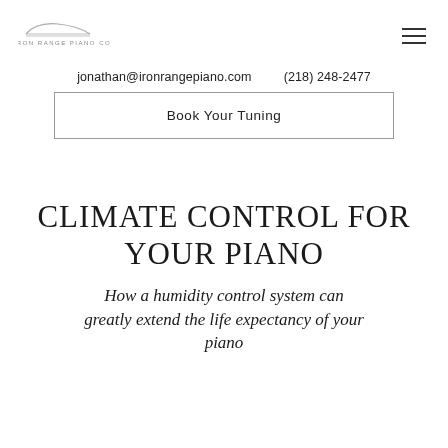[Figure (logo): Iron Range Piano Co. logo — stylized piano shape outline with company name text beneath]
jonathan@ironrangepiano.com     (218) 248-2477
Book Your Tuning
CLIMATE CONTROL FOR YOUR PIANO
How a humidity control system can greatly extend the life expectancy of your piano